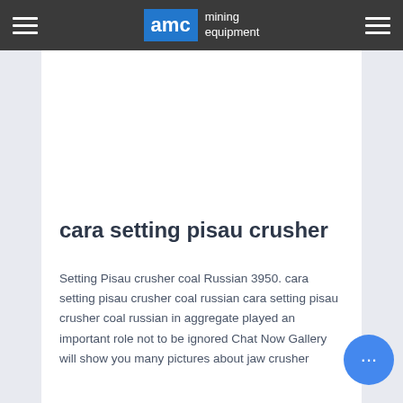AMC mining equipment
cara setting pisau crusher
Setting Pisau crusher coal Russian 3950. cara setting pisau crusher coal russian cara setting pisau crusher coal russian in aggregate played an important role not to be ignored Chat Now Gallery will show you many pictures about jaw crusher